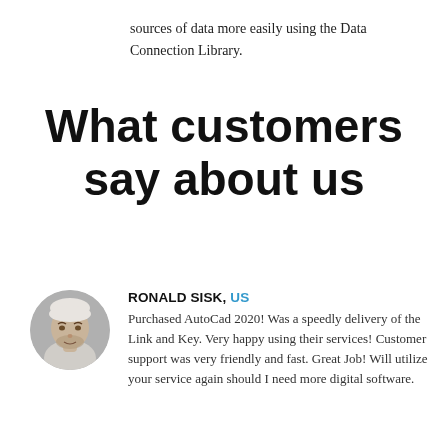sources of data more easily using the Data Connection Library.
What customers say about us
[Figure (photo): Circular avatar photo of a man with short hair and beard, wearing a white shirt, grayscale tones.]
RONALD SISK, US
Purchased AutoCad 2020! Was a speedly delivery of the Link and Key. Very happy using their services! Customer support was very friendly and fast. Great Job! Will utilize your service again should I need more digital software.